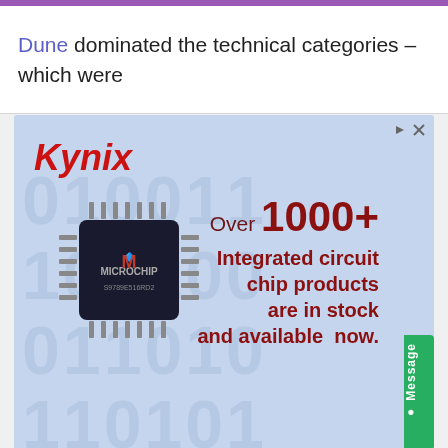Dune dominated the technical categories – which were
[Figure (infographic): Kynix advertisement banner with a Microchip brand integrated circuit chip image on a blue background. Text reads: Over 1000+ Integrated circuit chip products are in stock and available now. Kynix logo in red italic on top left. Green Message button on right edge.]
Integrated Circuits Supplier
Kynix
Get Quote >